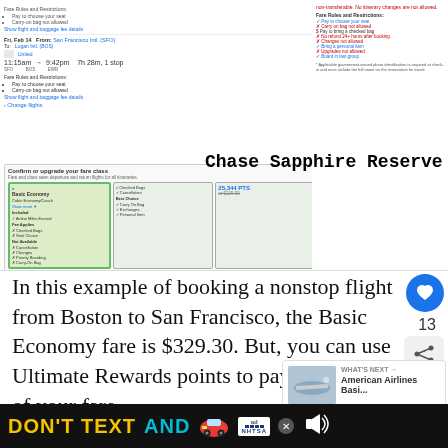[Figure (screenshot): Screenshot of a flight booking interface showing a United Airlines flight on Fri, Feb 14 from San Francisco Intl. (SFO) to Logan Intl. (BOS), departing 11:15am arriving 9:42pm, 7h 28m 1 stop. Below shows fare class options including Basic Economy with 25,344 PTS or $329.30. An overlay label reads 'Chase Sapphire Reserve = 21,953 PTS'.]
In this example of booking a nonstop flight from Boston to San Francisco, the Basic Economy fare is $329.30. But, you can use Ultimate Rewards points to pay for part or all of your fare.
If using your Chase Sapphire Reserve with its 1.5 cents per point, you could pay for the entire trip with points.
[Figure (advertisement): DON'T TEXT AND (drive) advertisement banner from NHTSA with yellow and cyan text on black background with car emoji]